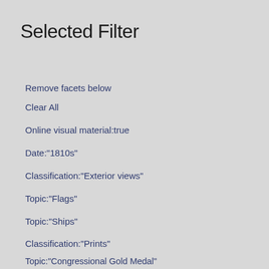Selected Filter
Remove facets below
Clear All
Online visual material:true
Date:"1810s"
Classification:"Exterior views"
Topic:"Flags"
Topic:"Ships"
Classification:"Prints"
Topic:"Congressional Gold Medal"
Topic:"Commodore"